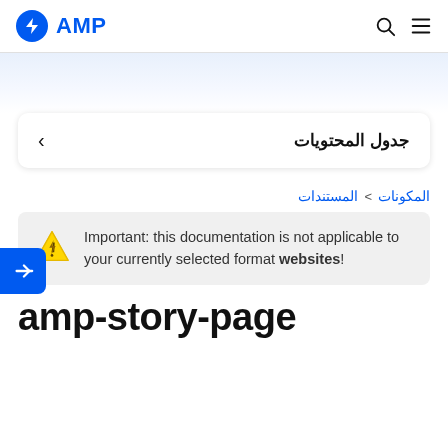AMP
جدول المحتويات
المكونات > المستندات
Important: this documentation is not applicable to your currently selected format websites!
amp-story-page